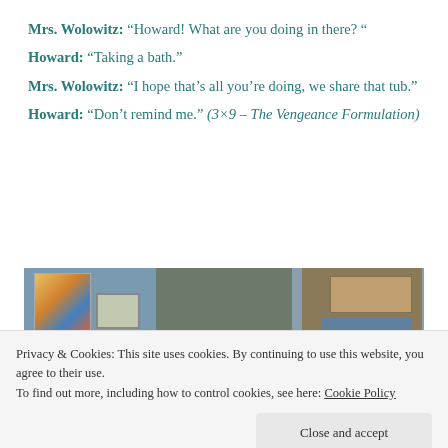Mrs. Wolowitz: “Howard! What are you doing in there? “
Howard: “Taking a bath.”
Mrs. Wolowitz: “I hope that’s all you’re doing, we share that tub.”
Howard: “Don’t remind me.” (3×9 – The Vengeance Formulation)
[Figure (photo): TV screenshot showing characters from The Big Bang Theory in an apartment setting]
Privacy & Cookies: This site uses cookies. By continuing to use this website, you agree to their use. To find out more, including how to control cookies, see here: Cookie Policy
Close and accept